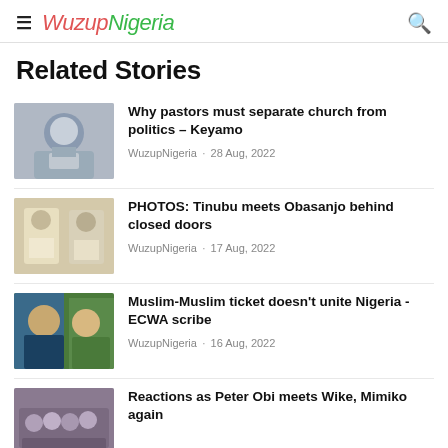WuzupNigeria
Related Stories
[Figure (photo): Photo of a person with hands raised, speaking]
Why pastors must separate church from politics – Keyamo
WuzupNigeria · 28 Aug, 2022
[Figure (photo): Photo of two men in white attire]
PHOTOS: Tinubu meets Obasanjo behind closed doors
WuzupNigeria · 17 Aug, 2022
[Figure (photo): Photo of a man in cap with Nigerian flag colors]
Muslim-Muslim ticket doesn't unite Nigeria - ECWA scribe
WuzupNigeria · 16 Aug, 2022
[Figure (photo): Photo of a group of people]
Reactions as Peter Obi meets Wike, Mimiko again